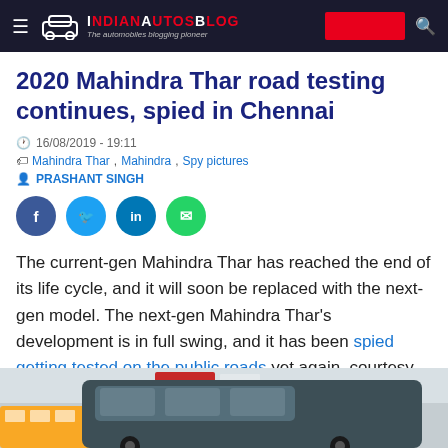IndianAutosBlog — The automobiles blogging pioneer
2020 Mahindra Thar road testing continues, spied in Chennai
16/08/2019 - 19:11
Mahindra Thar, Mahindra, Spy pictures
PRASHANT SINGH
[Figure (other): Social share buttons: Facebook, Twitter, LinkedIn, WhatsApp]
The current-gen Mahindra Thar has reached the end of its life cycle, and it will soon be replaced with the next-gen model. The next-gen Mahindra Thar's development is in full swing, and it has been spied getting tested on the public roads yet again, courtesy anything-on-wheels.blogspot.com.
[Figure (photo): Street photo showing the camouflaged 2020 Mahindra Thar test mule alongside a yellow bus in Chennai traffic]